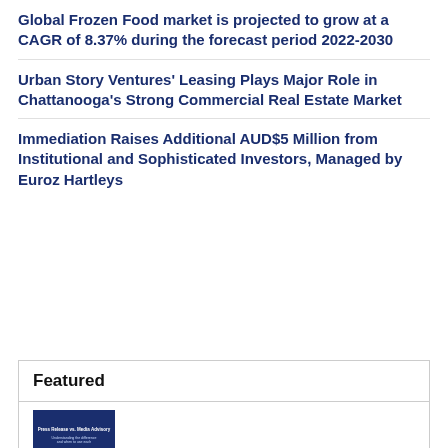Global Frozen Food market is projected to grow at a CAGR of 8.37% during the forecast period 2022-2030
Urban Story Ventures' Leasing Plays Major Role in Chattanooga's Strong Commercial Real Estate Market
Immediation Raises Additional AUD$5 Million from Institutional and Sophisticated Investors, Managed by Euroz Hartleys
Featured
[Figure (screenshot): Thumbnail image showing a press release document titled 'Press Release vs. Media Advisory']